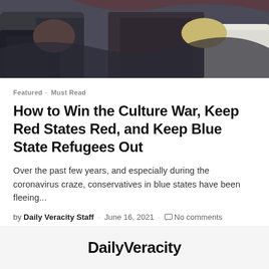[Figure (photo): Photo of people in suits shaking hands or gesturing, partially cropped at the top of the page]
Featured · Must Read
How to Win the Culture War, Keep Red States Red, and Keep Blue State Refugees Out
Over the past few years, and especially during the coronavirus craze, conservatives in blue states have been fleeing...
by Daily Veracity Staff · June 16, 2021 · No comments
DailyVeracity